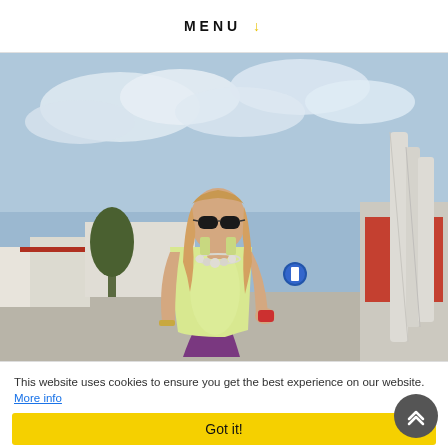MENU ↓
[Figure (photo): A woman wearing sunglasses and a light yellow tank top with a statement necklace, walking outdoors. Background shows a partly cloudy sky, a tree, buildings with red roofs, and closed white parasols on the right side.]
This website uses cookies to ensure you get the best experience on our website. More info
Got it!